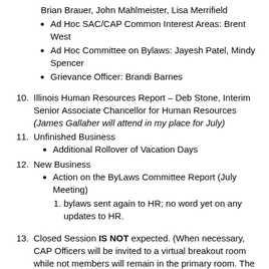Brian Brauer, John Mahlmeister, Lisa Merrifield
Ad Hoc SAC/CAP Common Interest Areas: Brent West
Ad Hoc Committee on Bylaws: Jayesh Patel, Mindy Spencer
Grievance Officer: Brandi Barnes
10. Illinois Human Resources Report – Deb Stone, Interim Senior Associate Chancellor for Human Resources (James Gallaher will attend in my place for July)
11. Unfinished Business
Additional Rollover of Vacation Days
12. New Business
Action on the ByLaws Committee Report (July Meeting)
1. bylaws sent again to HR; no word yet on any updates to HR.
13. Closed Session IS NOT expected. (When necessary, CAP Officers will be invited to a virtual breakout room while not members will remain in the primary room. The meeting